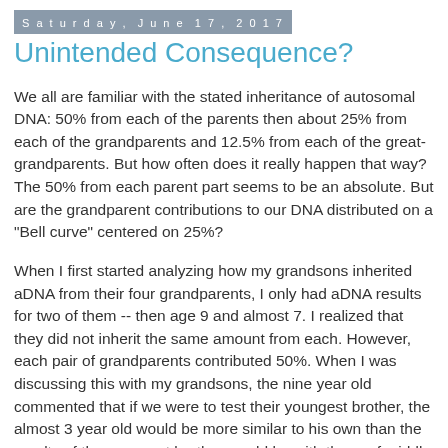Saturday, June 17, 2017
Unintended Consequence?
We all are familiar with the stated inheritance of autosomal DNA: 50% from each of the parents then about 25% from each of the grandparents and 12.5% from each of the great-grandparents. But how often does it really happen that way? The 50% from each parent part seems to be an absolute. But are the grandparent contributions to our DNA distributed on a "Bell curve" centered on 25%?
When I first started analyzing how my grandsons inherited aDNA from their four grandparents, I only had aDNA results for two of them -- then age 9 and almost 7. I realized that they did not inherit the same amount from each. However, each pair of grandparents contributed 50%. When I was discussing this with my grandsons, the nine year old commented that if we were to test their youngest brother, the almost 3 year old would be more similar to his own than the results of the youngest brother would be with those of middle